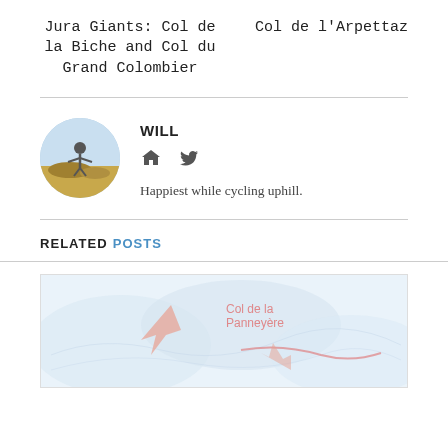Jura Giants: Col de la Biche and Col du Grand Colombier	Col de l'Arpettaz
[Figure (photo): Circular avatar photo of Will, a cyclist posing on a rocky outcrop outdoors]
WILL
Happiest while cycling uphill.
RELATED POSTS
[Figure (map): Partial map preview showing Col de la Panneyère or similar mountain col with terrain shading and red route markings]